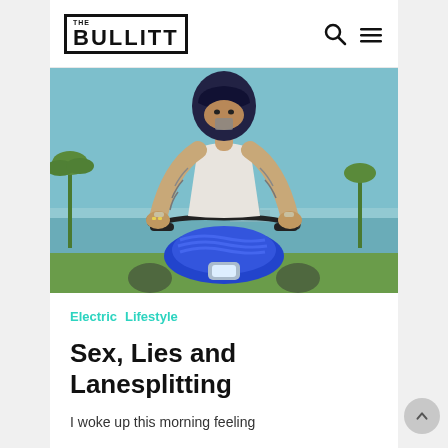The Bullitt
[Figure (photo): Tattooed man on motorcycle wearing dark helmet, leaning over handlebars with blue electric motorcycle body, outdoor scene with palm trees and water in background]
Electric  Lifestyle
Sex, Lies and Lanesplitting
I woke up this morning feeling...